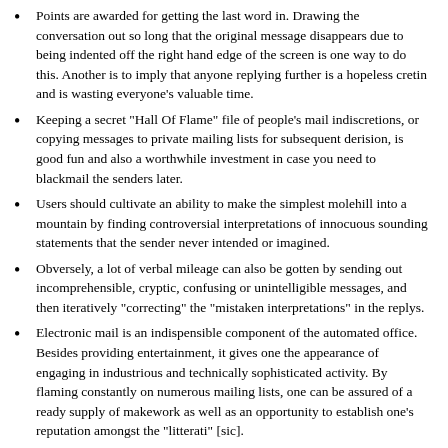Points are awarded for getting the last word in. Drawing the conversation out so long that the original message disappears due to being indented off the right hand edge of the screen is one way to do this. Another is to imply that anyone replying further is a hopeless cretin and is wasting everyone's valuable time.
Keeping a secret "Hall Of Flame" file of people's mail indiscretions, or copying messages to private mailing lists for subsequent derision, is good fun and also a worthwhile investment in case you need to blackmail the senders later.
Users should cultivate an ability to make the simplest molehill into a mountain by finding controversial interpretations of innocuous sounding statements that the sender never intended or imagined.
Obversely, a lot of verbal mileage can also be gotten by sending out incomprehensible, cryptic, confusing or unintelligible messages, and then iteratively "correcting" the "mistaken interpretations" in the replys.
Electronic mail is an indispensible component of the automated office. Besides providing entertainment, it gives one the appearance of engaging in industrious and technically sophisticated activity. By flaming constantly on numerous mailing lists, one can be assured of a ready supply of makework as well as an opportunity to establish one's reputation amongst the "litterati" [sic].